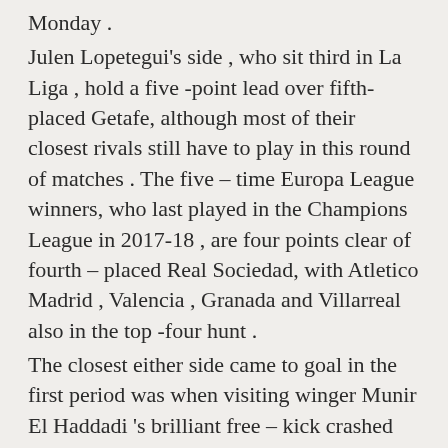Monday .
Julen Lopetegui's side , who sit third in La Liga , hold a five -point lead over fifth- placed Getafe, although most of their closest rivals still have to play in this round of matches . The five – time Europa League winners, who last played in the Champions League in 2017-18 , are four points clear of fourth – placed Real Sociedad, with Atletico Madrid , Valencia , Granada and Villarreal also in the top -four hunt .
The closest either side came to goal in the first period was when visiting winger Munir El Haddadi 's brilliant free – kick crashed against the crossbar.
Sevilla did take the lead in the first minute of the second half , as former Barcelona player El